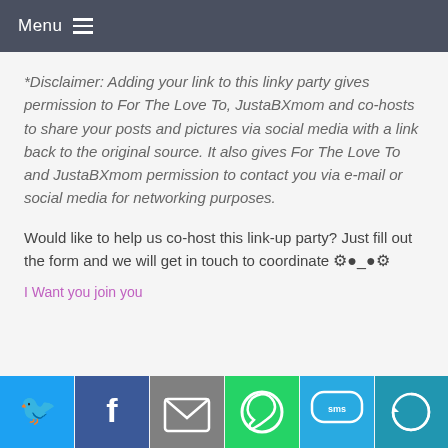Menu
*Disclaimer: Adding your link to this linky party gives permission to For The Love To, JustaBXmom and co-hosts to share your posts and pictures via social media with a link back to the original source. It also gives For The Love To and JustaBXmom permission to contact you via e-mail or social media for networking purposes.
Would like to help us co-host this link-up party? Just fill out the form and we will get in touch to coordinate
I Want you join you
[Figure (infographic): Social share bar at bottom with icons for Twitter, Facebook, Email, WhatsApp, SMS, and More]